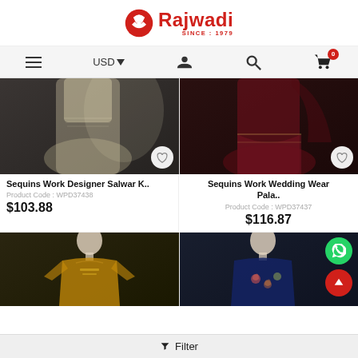[Figure (logo): Rajwadi brand logo with red icon and text, SINCE: 1979]
[Figure (screenshot): Navigation bar with hamburger menu, USD currency selector, user icon, search icon, and cart icon with 0 badge]
[Figure (photo): Cream/beige sequins work designer salwar kameez on dark background with wishlist heart button]
Sequins Work Designer Salwar K..
Product Code : WPD37438
$103.88
[Figure (photo): Maroon sequins work wedding wear palazzo on dark background with wishlist heart button]
Sequins Work Wedding Wear Pala..
Product Code : WPD37437
$116.87
[Figure (photo): Yellow/gold designer salwar kameez on mannequin with dark background]
[Figure (photo): Navy blue embroidered designer suit on mannequin with dark background, WhatsApp and scroll-up buttons visible]
Filter